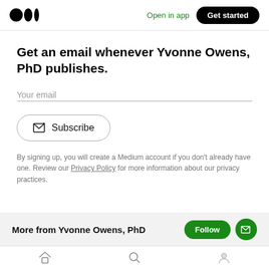Medium logo | Open in app | Get started
Get an email whenever Yvonne Owens, PhD publishes.
Your email
Subscribe
By signing up, you will create a Medium account if you don't already have one. Review our Privacy Policy for more information about our privacy practices.
More from Yvonne Owens, PhD
Home | Search | Profile